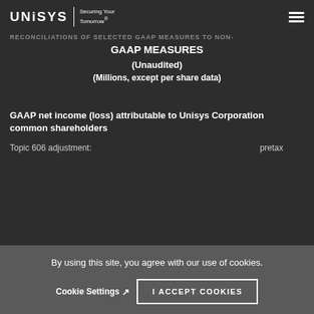UNISYS | Securing Your Tomorrow®
RECONCILIATIONS OF SELECTED GAAP MEASURES TO NON-GAAP MEASURES
(Unaudited)
(Millions, except per share data)
GAAP net income (loss) attributable to Unisys Corporation common shareholders
Topic 606 adjustment:    pretax
tax
net of tax